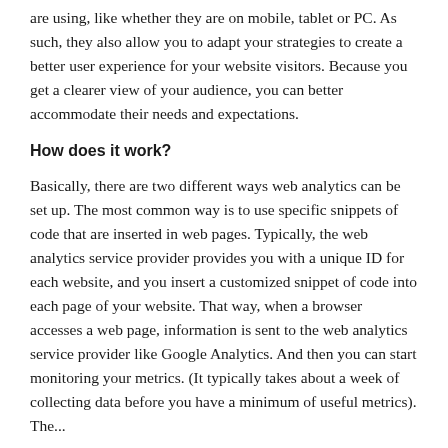are using, like whether they are on mobile, tablet or PC. As such, they also allow you to adapt your strategies to create a better user experience for your website visitors. Because you get a clearer view of your audience, you can better accommodate their needs and expectations.
How does it work?
Basically, there are two different ways web analytics can be set up. The most common way is to use specific snippets of code that are inserted in web pages. Typically, the web analytics service provider provides you with a unique ID for each website, and you insert a customized snippet of code into each page of your website. That way, when a browser accesses a web page, information is sent to the web analytics service provider like Google Analytics. And then you can start monitoring your metrics. (It typically takes about a week of collecting data before you have a minimum of useful metrics). The...